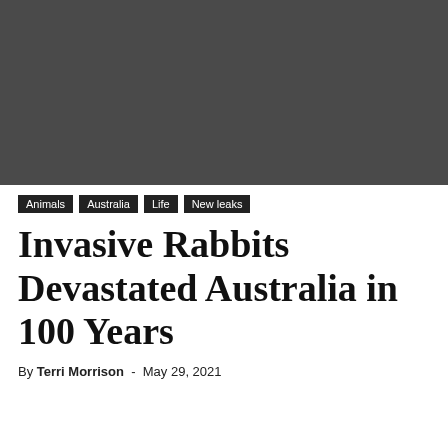[Figure (photo): Dark gray/black rectangular image placeholder at the top of the page]
Animals | Australia | Life | New leaks
Invasive Rabbits Devastated Australia in 100 Years
By Terri Morrison - May 29, 2021